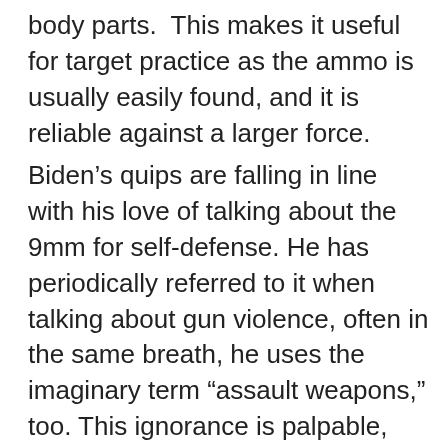body parts.  This makes it useful for target practice as the ammo is usually easily found, and it is reliable against a larger force.
Biden's quips are falling in line with his love of talking about the 9mm for self-defense. He has periodically referred to it when talking about gun violence, often in the same breath, he uses the imaginary term “assault weapons,” too. This ignorance is palpable, and it only serves to further polarize the country on the issue. Those who know enough about firearms to speak out against his claims are often labeled as gun nuts, and people refuse to listen to them. Meanwhile,